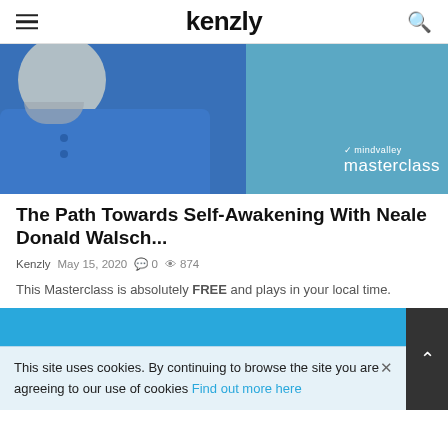kenzly
[Figure (photo): Man in blue shirt with grey beard, Mindvalley Masterclass branding overlay on blue background]
The Path Towards Self-Awakening With Neale Donald Walsch...
Kenzly  May 15, 2020  💬 0  👁 874
This Masterclass is absolutely FREE and plays in your local time.
[Figure (screenshot): Blue banner section at the bottom of the article]
This site uses cookies. By continuing to browse the site you are agreeing to our use of cookies Find out more here